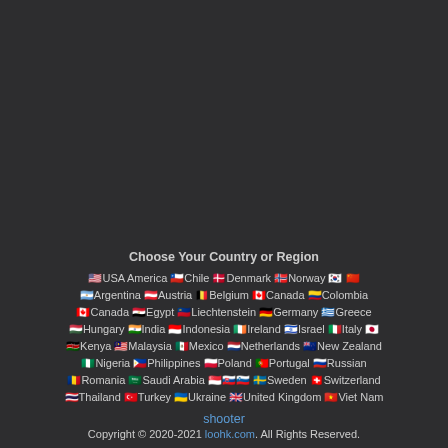Choose Your Country or Region
🇺🇸USA America 🇨🇱Chile 🇩🇰Denmark 🇳🇴Norway 🇰🇷 🇨🇳 🇦🇷Argentina 🇦🇹Austria 🇧🇪Belgium 🇨🇦Canada 🇨🇴Colombia 🇨🇦Canada 🇪🇬Egypt 🇱🇮Liechtenstein 🇩🇪Germany 🇬🇷Greece 🇭🇺Hungary 🇮🇳India 🇮🇩Indonesia 🇮🇪Ireland 🇮🇱Israel 🇮🇹Italy 🇯🇵 🇰🇪Kenya 🇲🇾Malaysia 🇲🇽Mexico 🇳🇱Netherlands 🇳🇿New Zealand 🇳🇬Nigeria 🇵🇭Philippines 🇵🇱Poland 🇵🇹Portugal 🇷🇺Russian 🇷🇴Romania 🇸🇦Saudi Arabia 🇸🇬🇸🇰🇸🇮 🇸🇪Sweden 🇨🇭Switzerland 🇹🇭Thailand 🇹🇷Turkey 🇺🇦Ukraine 🇬🇧United Kingdom 🇻🇳Viet Nam
shooter
Copyright © 2020-2021 loohk.com. All Rights Reserved.